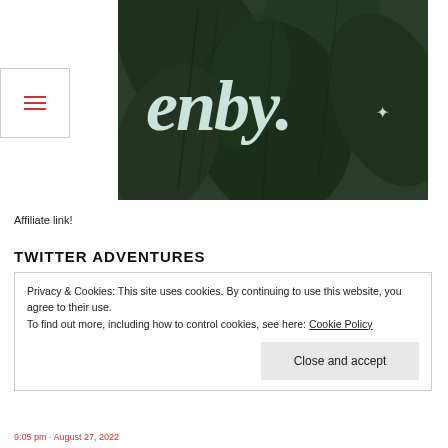[Figure (photo): Dark green tropical leaves background with white italic text 'enby.' and a small star/sparkle symbol]
[Figure (other): Hamburger menu icon (three horizontal red lines) in a bordered white box]
Affiliate link!
TWITTER ADVENTURES
Privacy & Cookies: This site uses cookies. By continuing to use this website, you agree to their use.
To find out more, including how to control cookies, see here: Cookie Policy
[Close and accept button]
9:05 pm · August 27, 2022